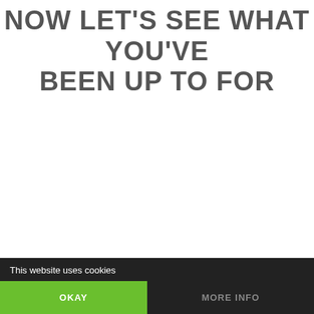NOW LET'S SEE WHAT YOU'VE BEEN UP TO FOR
This website uses cookies
OKAY
MORE INFO